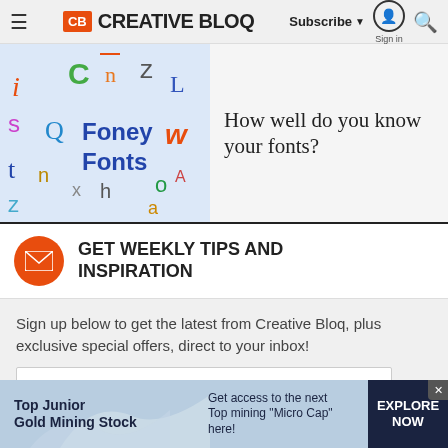Creative Bloq — Subscribe | Sign in | Search
[Figure (screenshot): Foney Fonts image with colorful scattered letters on light blue background]
How well do you know your fonts?
GET WEEKLY TIPS AND INSPIRATION
Sign up below to get the latest from Creative Bloq, plus exclusive special offers, direct to your inbox!
[Figure (infographic): Advertisement banner: Top Junior Gold Mining Stock — Get access to the next Top mining "Micro Cap" here! — EXPLORE NOW]